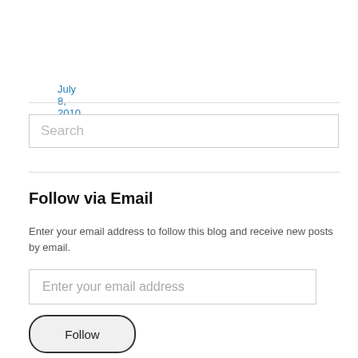July 8, 2010
[Figure (other): Search text input box with placeholder text 'Search']
Follow via Email
Enter your email address to follow this blog and receive new posts by email.
[Figure (other): Email address input field with placeholder 'Enter your email address']
[Figure (other): Follow button with rounded border]